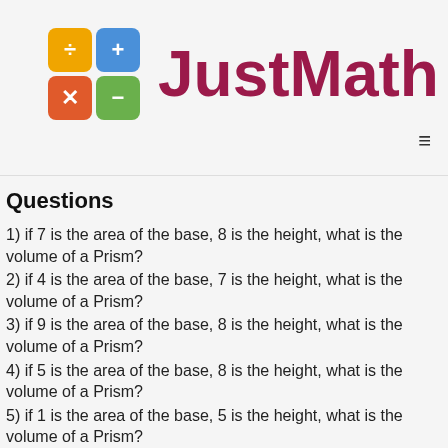[Figure (logo): JustMath logo with colorful calculator icon grid (division orange, plus blue, multiply red, minus green) and brand name in dark red]
Questions
1) if 7 is the area of the base, 8 is the height, what is the volume of a Prism?
2) if 4 is the area of the base, 7 is the height, what is the volume of a Prism?
3) if 9 is the area of the base, 8 is the height, what is the volume of a Prism?
4) if 5 is the area of the base, 8 is the height, what is the volume of a Prism?
5) if 1 is the area of the base, 5 is the height, what is the volume of a Prism?
6) if 1 is the area of the base, 9 is the height, what is the volume of a Prism?